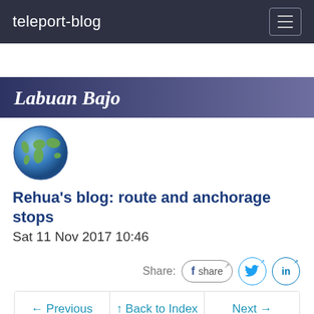teleport-blog
Labuan Bajo
[Figure (photo): Globe emoji / world map sphere icon]
Rehua's blog: route and anchorage stops
Sat 11 Nov 2017 10:46
Share: [Facebook share] [Twitter] [LinkedIn]
← Previous   ↑ Back to Index ↑   Next →
8:29.454S 119:52.324E